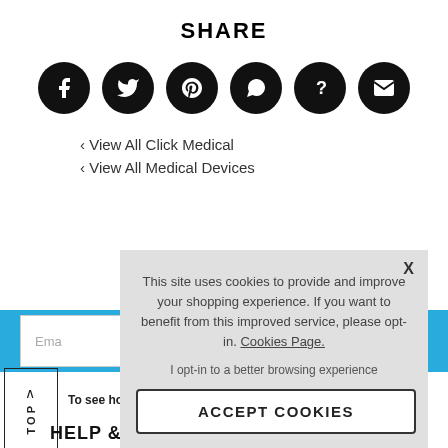SHARE
[Figure (illustration): Six black circular social media share buttons: Facebook, Twitter, Pinterest, WhatsApp, unknown (question mark), and email.]
‹ View All Click Medical
‹ View All Medical Devices
[Figure (screenshot): Cookie consent popup overlay with text: 'This site uses cookies to provide and improve your shopping experience. If you want to benefit from this improved service, please opt-in. Cookies Page. I opt-in to a better browsing experience' and an ACCEPT COOKIES button.]
HELP & INFORMATION